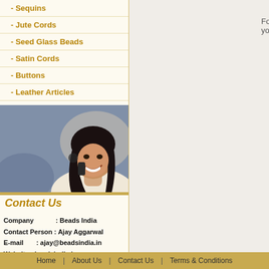- Sequins
- Jute Cords
- Seed Glass Beads
- Satin Cords
- Buttons
- Leather Articles
[Figure (photo): Woman smiling and talking on a phone, customer service representative photo]
Contact Us
Company            : Beads India
Contact Person : Ajay Aggarwal
E-mail      : ajay@beadsindia.in
Website : beadsindia.in
                   beadsindia.com
Forget your p
Home  |  About Us  |  Contact Us  |  Terms & Conditions